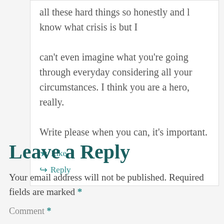all these hard things so honestly and l know what crisis is but I can't even imagine what you're going through everyday considering all your circumstances. I think you are a hero, really. Write please when you can, it's important.
★ Like
↪ Reply
Leave a Reply
Your email address will not be published. Required fields are marked *
Comment *